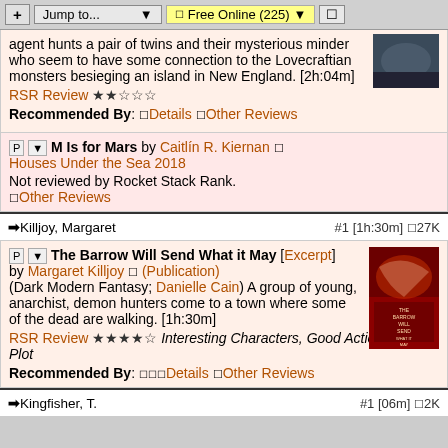+ Jump to...  🔲Free Online (225) ▾  🔲
agent hunts a pair of twins and their mysterious minder who seem to have some connection to the Lovecraftian monsters besieging an island in New England. [2h:04m]
RSR Review ★★☆☆☆
Recommended By: 🔲Details 🔲Other Reviews
M Is for Mars by Caitlín R. Kiernan 🔲 Houses Under the Sea 2018
Not reviewed by Rocket Stack Rank.
🔲Other Reviews
➡Killjoy, Margaret   #1 [1h:30m] 🔲27K
The Barrow Will Send What it May [Excerpt] by Margaret Killjoy 🔲 (Publication)
(Dark Modern Fantasy; Danielle Cain) A group of young, anarchist, demon hunters come to a town where some of the dead are walking. [1h:30m]
RSR Review ★★★★☆ Interesting Characters, Good Action, Cool Plot
Recommended By: 🔲🔲🔲Details 🔲Other Reviews
➡Kingfisher, T.   #1 [06m] 🔲2K